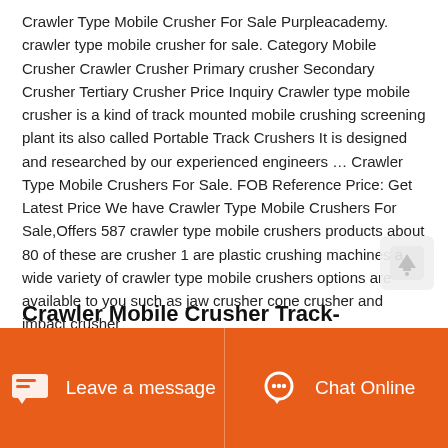Crawler Type Mobile Crusher For Sale Purpleacademy. crawler type mobile crusher for sale. Category Mobile Crusher Crawler Crusher Primary crusher Secondary Crusher Tertiary Crusher Price Inquiry Crawler type mobile crusher is a kind of track mounted mobile crushing screening plant its also called Portable Track Crushers It is designed and researched by our experienced engineers … Crawler Type Mobile Crushers For Sale. FOB Reference Price: Get Latest Price We have Crawler Type Mobile Crushers For Sale,Offers 587 crawler type mobile crushers products about 80 of these are crusher 1 are plastic crushing machines a wide variety of crawler type mobile crushers options are available to you such as jaw crusher cone crusher and impact crusher
Crawler Mobile Crusher Track-mounted Mobile Crusher Mobile
[Figure (other): Scroll-to-top button overlay with upward arrow icon]
Leave a message   Chat Online